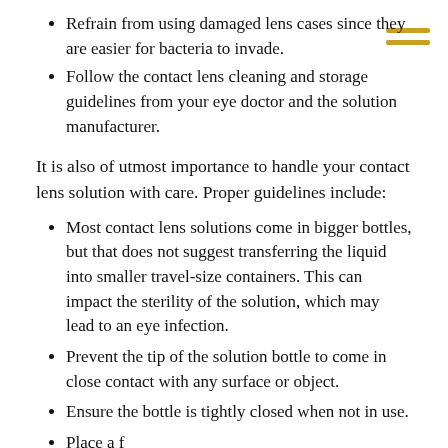Refrain from using damaged lens cases since they are easier for bacteria to invade.
Follow the contact lens cleaning and storage guidelines from your eye doctor and the solution manufacturer.
It is also of utmost importance to handle your contact lens solution with care. Proper guidelines include:
Most contact lens solutions come in bigger bottles, but that does not suggest transferring the liquid into smaller travel-size containers. This can impact the sterility of the solution, which may lead to an eye infection.
Prevent the tip of the solution bottle to come in close contact with any surface or object.
Ensure the bottle is tightly closed when not in use.
Place a f...